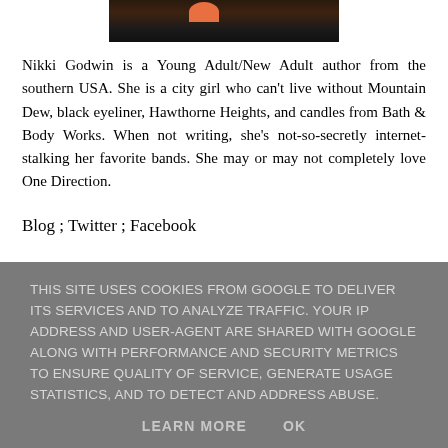[Figure (photo): Partial photo of a person, cropped at top, dark background with some colorful elements]
Nikki Godwin is a Young Adult/New Adult author from the southern USA. She is a city girl who can't live without Mountain Dew, black eyeliner, Hawthorne Heights, and candles from Bath & Body Works. When not writing, she's not-so-secretly internet-stalking her favorite bands. She may or may not completely love One Direction.
Blog ; Twitter ; Facebook
THIS SITE USES COOKIES FROM GOOGLE TO DELIVER ITS SERVICES AND TO ANALYZE TRAFFIC. YOUR IP ADDRESS AND USER-AGENT ARE SHARED WITH GOOGLE ALONG WITH PERFORMANCE AND SECURITY METRICS TO ENSURE QUALITY OF SERVICE, GENERATE USAGE STATISTICS, AND TO DETECT AND ADDRESS ABUSE.
LEARN MORE    OK